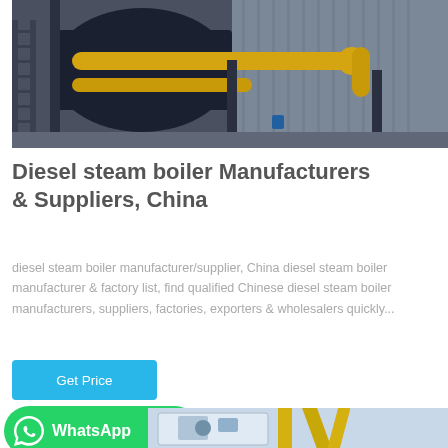[Figure (photo): Industrial diesel steam boiler with yellow pipes in a factory/warehouse setting with corrugated metal walls]
Diesel steam boiler Manufacturers & Suppliers, China
diesel steam boiler manufacturer/supplier, China diesel steam boiler manufacturer & factory list, find qualified Chinese diesel steam boiler manufacturers, suppliers, factories, exporters & wholesalers quickly...
Get Price
WhatsApp
[Figure (photo): Industrial boiler equipment with yellow gas pipes, partial view of a second installation photo]